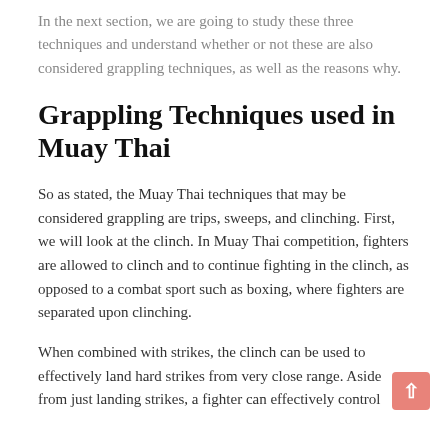In the next section, we are going to study these three techniques and understand whether or not these are also considered grappling techniques, as well as the reasons why.
Grappling Techniques used in Muay Thai
So as stated, the Muay Thai techniques that may be considered grappling are trips, sweeps, and clinching. First, we will look at the clinch. In Muay Thai competition, fighters are allowed to clinch and to continue fighting in the clinch, as opposed to a combat sport such as boxing, where fighters are separated upon clinching.
When combined with strikes, the clinch can be used to effectively land hard strikes from very close range. Aside from just landing strikes, a fighter can effectively control